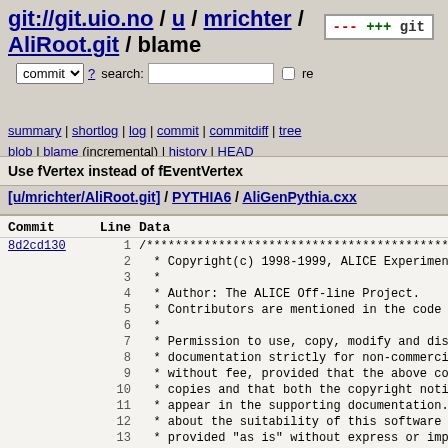git://git.uio.no / u / mrichter / AliRoot.git / blame
summary | shortlog | log | commit | commitdiff | tree blob | blame (incremental) | history | HEAD
Use fVertex instead of fEventVertex
[u/mrichter/AliRoot.git] / PYTHIA6 / AliGenPythia.cxx
| Commit | Line | Data |
| --- | --- | --- |
| 8d2cd130 | 1 | /************************************************ |
|  | 2 |   * Copyright(c) 1998-1999, ALICE Experiment |
|  | 3 |   * |
|  | 4 |   * Author: The ALICE Off-line Project. |
|  | 5 |   * Contributors are mentioned in the code wh |
|  | 6 |   * |
|  | 7 |   * Permission to use, copy, modify and distr |
|  | 8 |   * documentation strictly for non-commercial |
|  | 9 |   * without fee, provided that the above copy |
|  | 10 |   * copies and that both the copyright notice |
|  | 11 |   * appear in the supporting documentation. T |
|  | 12 |   * about the suitability of this software fo |
|  | 13 |   * provided "as is" without express or impli |
|  | 14 |   ************************************************ |
|  | 15 |  |
| 7cdba479 | 16 | /* $Id$ */ |
| 8d2cd130 | 17 |  |
|  | 18 | // |